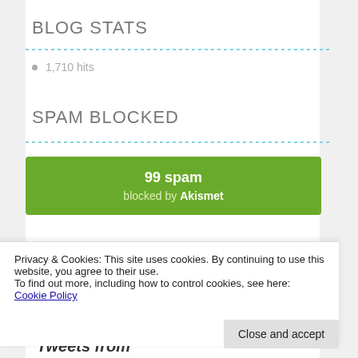and play. Slide to move
BLOG STATS
1,710 hits
SPAM BLOCKED
[Figure (infographic): Green box showing '99 spam blocked by Akismet']
Privacy & Cookies: This site uses cookies. By continuing to use this website, you agree to their use.
To find out more, including how to control cookies, see here: Cookie Policy
Close and accept
Tweets from